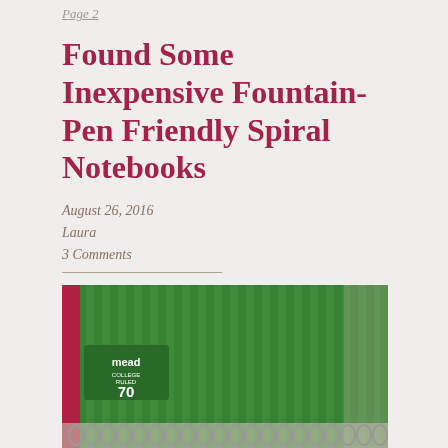Page 2
Found Some Inexpensive Fountain-Pen Friendly Spiral Notebooks
August 26, 2016
Laura
3 Comments
[Figure (photo): Close-up photo of a Mead College Ruled 70-sheet spiral notebook with a green cover showing vertical stripe pattern and a red spine, with the spiral binding visible at the bottom.]